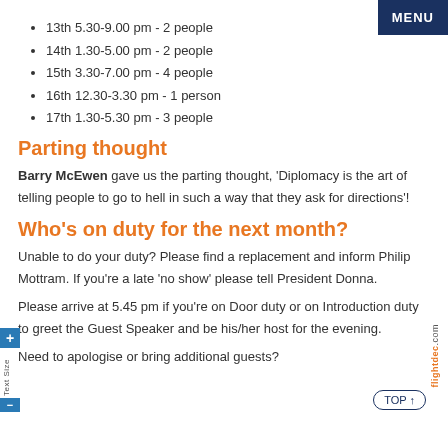13th  5.30-9.00 pm - 2 people
14th 1.30-5.00 pm - 2 people
15th 3.30-7.00 pm - 4 people
16th 12.30-3.30 pm - 1 person
17th 1.30-5.30 pm - 3 people
Parting thought
Barry McEwen gave us the parting thought, 'Diplomacy is the art of telling people to go to hell in such a way that they ask for directions'!
Who's on duty for the next month?
Unable to do your duty? Please find a replacement and inform Philip Mottram. If you're a late 'no show' please tell President Donna.
Please arrive at 5.45 pm if you're on Door duty or on Introduction duty to greet the Guest Speaker and be his/her host for the evening.
Need to apologise or bring additional guests?